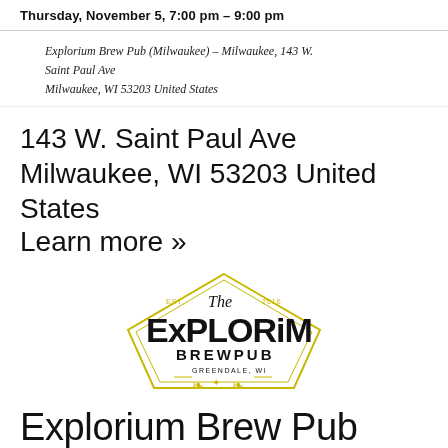Thursday, November 5, 7:00 pm – 9:00 pm
Explorium Brew Pub (Milwaukee) – Milwaukee, 143 W. Saint Paul Ave
Milwaukee, WI 53203 United States
143 W. Saint Paul Ave
Milwaukee, WI 53203 United States
Learn more »
[Figure (logo): The Explorium Brewpub logo — EST. 2016, Greendale, WI, with hop decorations and diamond/shield shape]
Explorium Brew Pub